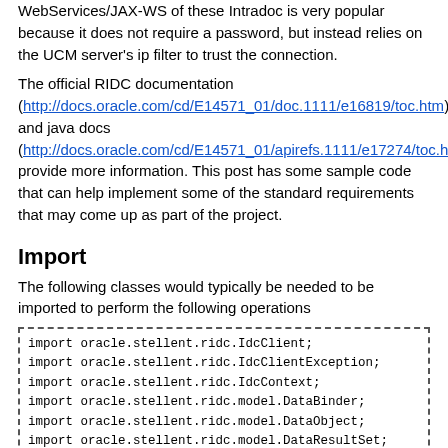WebServices/JAX-WS of these Intradoc is very popular because it does not require a password, but instead relies on the UCM server's ip filter to trust the connection.
The official RIDC documentation (http://docs.oracle.com/cd/E14571_01/doc.1111/e16819/toc.htm) and java docs (http://docs.oracle.com/cd/E14571_01/apirefs.1111/e17274/toc.htm) provide more information. This post has some sample code that can help implement some of the standard requirements that may come up as part of the project.
Import
The following classes would typically be needed to be imported to perform the following operations
import oracle.stellent.ridc.IdcClient;
import oracle.stellent.ridc.IdcClientException;
import oracle.stellent.ridc.IdcContext;
import oracle.stellent.ridc.model.DataBinder;
import oracle.stellent.ridc.model.DataObject;
import oracle.stellent.ridc.model.DataResultSet;
import oracle.stellent.ridc.model.TransferFile;
import oracle.stellent.ridc.protocol.ServiceResponse;